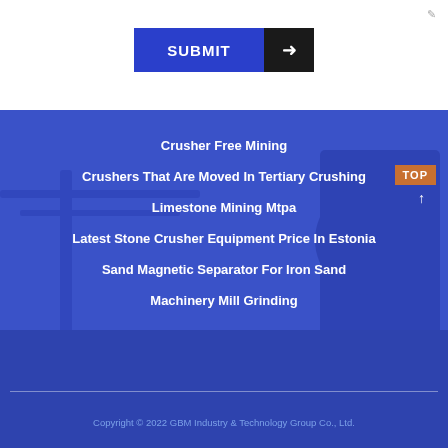[Figure (screenshot): Submit button with blue background and black arrow section]
Crusher Free Mining
Crushers That Are Moved In Tertiary Crushing
Limestone Mining Mtpa
Latest Stone Crusher Equipment Price In Estonia
Sand Magnetic Separator For Iron Sand
Machinery Mill Grinding
Copyright © 2022 GBM Industry & Technology Group Co., Ltd.